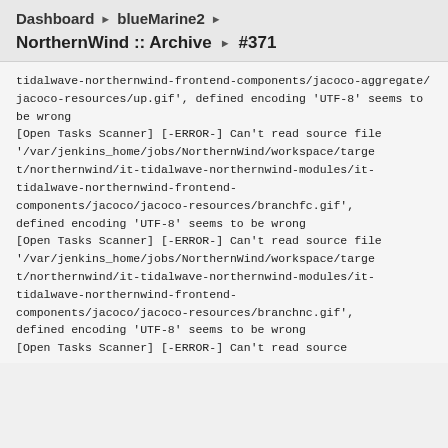Dashboard ▶ blueMarine2 ▶
NorthernWind :: Archive ▶ #371
tidalwave-northernwind-frontend-components/jacoco-aggregate/jacoco-resources/up.gif', defined encoding 'UTF-8' seems to be wrong
[Open Tasks Scanner] [-ERROR-] Can't read source file
'/var/jenkins_home/jobs/NorthernWind/workspace/target/northernwind/it-tidalwave-northernwind-modules/it-tidalwave-northernwind-frontend-components/jacoco/jacoco-resources/branchfc.gif', defined encoding 'UTF-8' seems to be wrong
[Open Tasks Scanner] [-ERROR-] Can't read source file
'/var/jenkins_home/jobs/NorthernWind/workspace/target/northernwind/it-tidalwave-northernwind-modules/it-tidalwave-northernwind-frontend-components/jacoco/jacoco-resources/branchnc.gif', defined encoding 'UTF-8' seems to be wrong
[Open Tasks Scanner] [-ERROR-] Can't read source